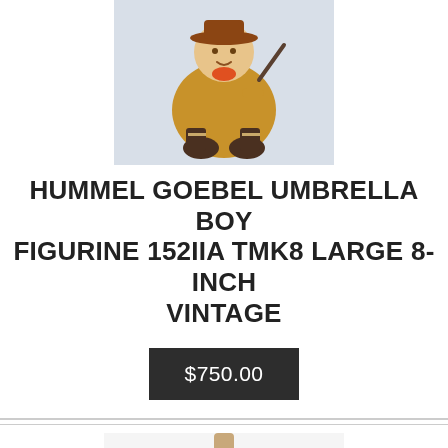[Figure (photo): Hummel Goebel Umbrella Boy ceramic figurine sitting, wearing a hat and boots, holding an umbrella, with tan/brown tones]
HUMMEL GOEBEL UMBRELLA BOY FIGURINE 152IIA TMK8 LARGE 8-INCH VINTAGE
$750.00
[Figure (photo): Yellow/neon green sports jersey (soccer referee or football shirt) with black accents displayed on a mannequin torso]